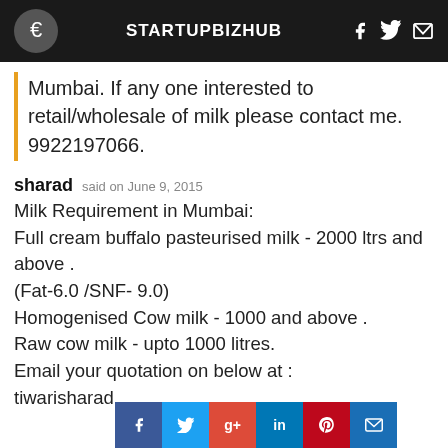STARTUPBIZHUB
Mumbai. If any one interested to retail/wholesale of milk please contact me. 9922197066.
sharad said on June 9, 2015
Milk Requirement in Mumbai:
Full cream buffalo pasteurised milk - 2000 ltrs and above .
(Fat-6.0 /SNF- 9.0)
Homogenised Cow milk - 1000 and above .
Raw cow milk - upto 1000 litres.
Email your quotation on below at :
tiwarisharad